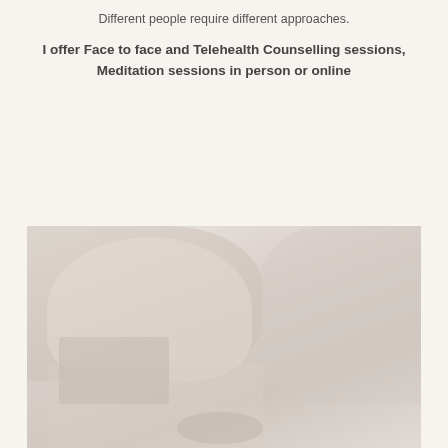Different people require different approaches.
I offer Face to face and Telehealth Counselling sessions, Meditation sessions in person or online
[Figure (photo): Faded/washed-out photo of a counselling or telehealth session setting, showing a person at a desk with a monitor and objects on the desk, very light and muted tones]